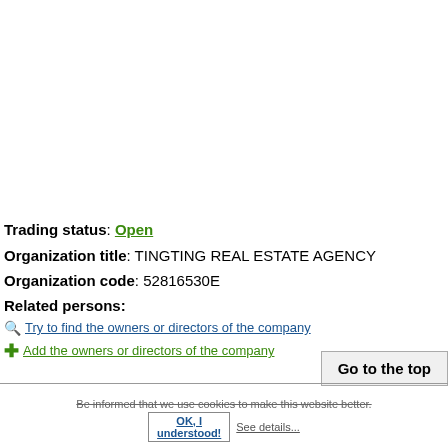Trading status: Open
Organization title: TINGTING REAL ESTATE AGENCY
Organization code: 52816530E
Related persons:
Try to find the owners or directors of the company
Add the owners or directors of the company
Go to the top
Be informed that we use cookies to make this website better. OK, I understood! See details...